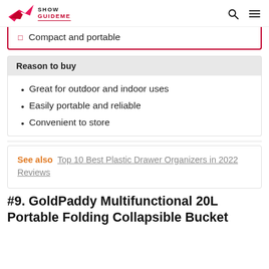Show GuideMe
Compact and portable
Reason to buy
Great for outdoor and indoor uses
Easily portable and reliable
Convenient to store
See also  Top 10 Best Plastic Drawer Organizers in 2022 Reviews
#9. GoldPaddy Multifunctional 20L Portable Folding Collapsible Bucket